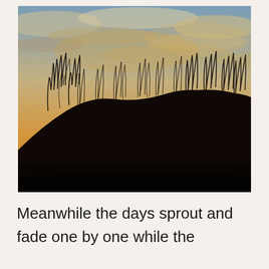[Figure (photo): A photograph of a sand dune at dusk or dawn. The lower portion is almost entirely in dark silhouette showing the dune mound covered with tall grasses. The upper portion shows a dramatic sky with clouds illuminated in warm golden and orange tones, with patches of blue sky visible.]
Meanwhile the days sprout and fade one by one while the